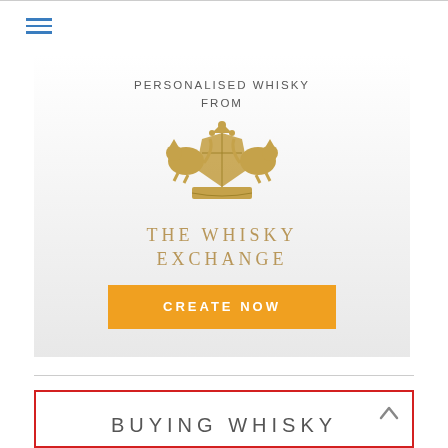[Figure (screenshot): Hamburger menu icon with three horizontal blue lines]
[Figure (illustration): The Whisky Exchange advertisement banner with gold heraldic crest, text 'PERSONALISED WHISKY FROM', brand name 'THE WHISKY EXCHANGE', and an orange 'CREATE NOW' button]
BUYING WHISKY